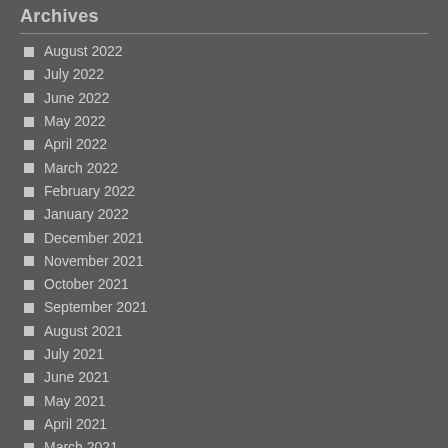Archives
August 2022
July 2022
June 2022
May 2022
April 2022
March 2022
February 2022
January 2022
December 2021
November 2021
October 2021
September 2021
August 2021
July 2021
June 2021
May 2021
April 2021
March 2021
February 2021
January 2021
December 2020
November 2020
October 2020